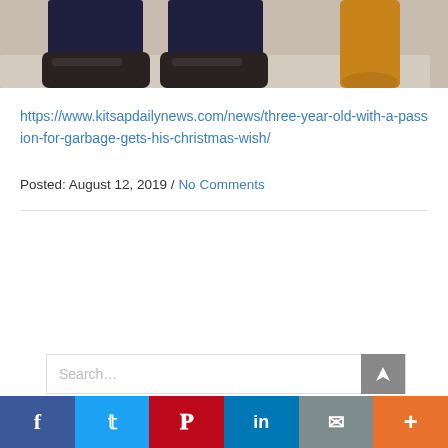[Figure (photo): Bottom portion of a photo showing a child's feet in dark shoes/sneakers and a dog's leg on a carpet/rug background]
https://www.kitsapdailynews.com/news/three-year-old-with-a-passion-for-garbage-gets-his-christmas-wish/
Posted: August 12, 2019 / No Comments
Search...